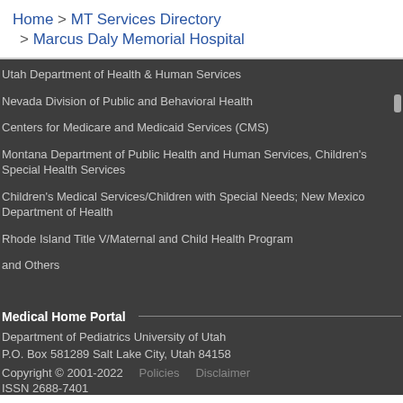Home > MT Services Directory > Marcus Daly Memorial Hospital
Utah Department of Health & Human Services
Nevada Division of Public and Behavioral Health
Centers for Medicare and Medicaid Services (CMS)
Montana Department of Public Health and Human Services, Children's Special Health Services
Children's Medical Services/Children with Special Needs; New Mexico Department of Health
Rhode Island Title V/Maternal and Child Health Program
and Others
Medical Home Portal — Department of Pediatrics University of Utah — P.O. Box 581289 Salt Lake City, Utah 84158 — Copyright © 2001-2022 — Policies — Disclaimer — ISSN 2688-7401